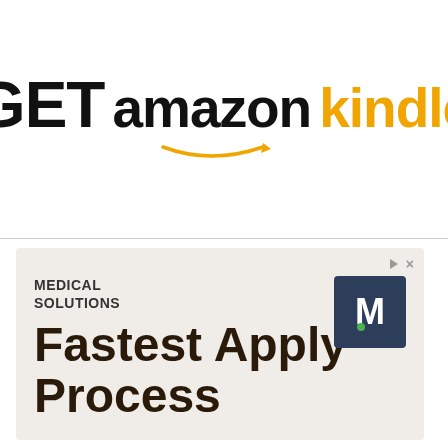[Figure (logo): GET amazon kindle logo with orange arrow smile underneath amazon text]
[Figure (infographic): Medical Solutions advertisement banner with M logo. Text: MEDICAL SOLUTIONS. Fastest Apply Process]